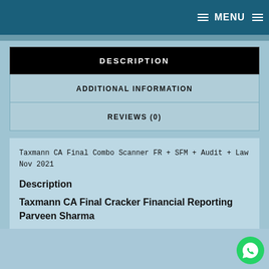MENU
DESCRIPTION
ADDITIONAL INFORMATION
REVIEWS (0)
Taxmann CA Final Combo Scanner FR + SFM + Audit + Law Nov 2021
Description
Taxmann CA Final Cracker Financial Reporting Parveen Sharma